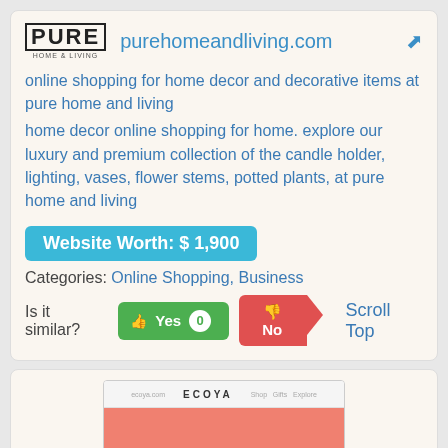[Figure (logo): PURE home and living logo]
purehomeandliving.com
online shopping for home decor and decorative items at pure home and living
home decor online shopping for home. explore our luxury and premium collection of the candle holder, lighting, vases, flower stems, potted plants, at pure home and living
Website Worth: $ 1,900
Categories: Online Shopping, Business
Is it similar?
Yes 0
No
Scroll Top
[Figure (screenshot): Screenshot of ECOYA website showing header navigation with Shop, Gifts, Explore links and a coral/pink hero section with decorative objects]